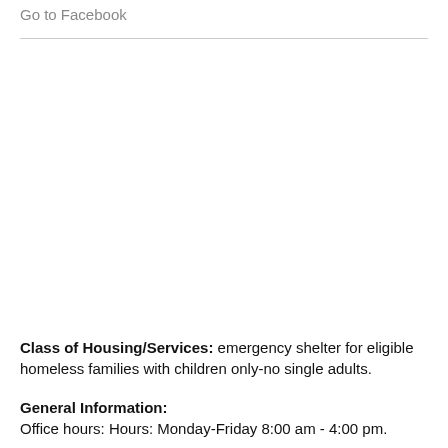Go to Facebook
Class of Housing/Services: emergency shelter for eligible homeless families with children only-no single adults.
General Information:
Office hours: Hours: Monday-Friday 8:00 am - 4:00 pm.